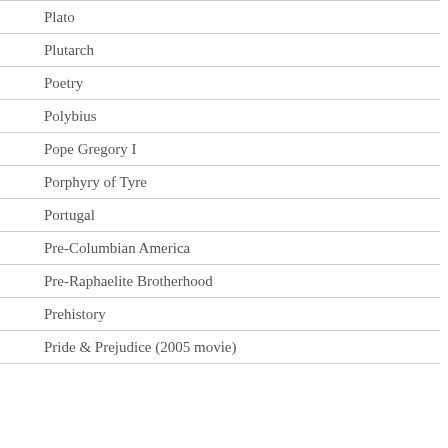Plato
Plutarch
Poetry
Polybius
Pope Gregory I
Porphyry of Tyre
Portugal
Pre-Columbian America
Pre-Raphaelite Brotherhood
Prehistory
Pride & Prejudice (2005 movie)